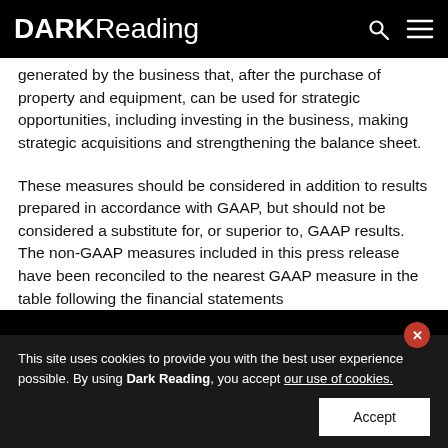DARK Reading
generated by the business that, after the purchase of property and equipment, can be used for strategic opportunities, including investing in the business, making strategic acquisitions and strengthening the balance sheet.
These measures should be considered in addition to results prepared in accordance with GAAP, but should not be considered a substitute for, or superior to, GAAP results. The non-GAAP measures included in this press release have been reconciled to the nearest GAAP measure in the table following the financial statements
This site uses cookies to provide you with the best user experience possible. By using Dark Reading, you accept our use of cookies.